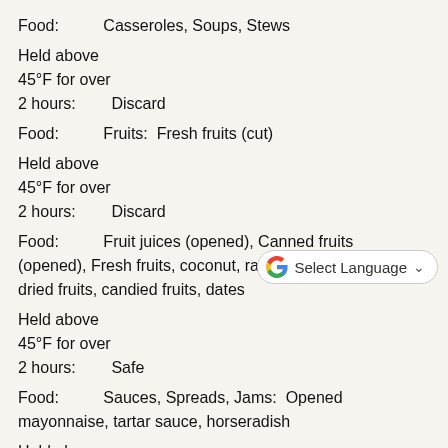Food:  Casseroles, Soups, Stews
Held above 45°F for over 2 hours:  Discard
Food:  Fruits:  Fresh fruits (cut)
[Figure (other): Google Translate widget button with G logo and 'Select Language' dropdown]
Held above 45°F for over 2 hours:  Discard
Food:  Fruit juices (opened), Canned fruits (opened), Fresh fruits, coconut, raisins, dried fruits, candied fruits, dates
Held above 45°F for over 2 hours:  Safe
Food:  Sauces, Spreads, Jams:  Opened mayonnaise, tartar sauce, horseradish
Held above 45°F for over